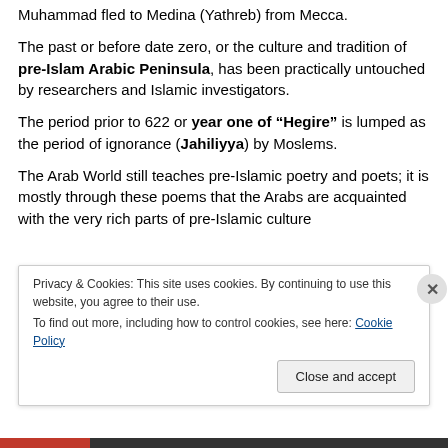Muhammad fled to Medina (Yathreb) from Mecca.
The past or before date zero, or the culture and tradition of pre-Islam Arabic Peninsula, has been practically untouched by researchers and Islamic investigators.
The period prior to 622 or year one of “Hegire” is lumped as the period of ignorance (Jahiliyya) by Moslems.
The Arab World still teaches pre-Islamic poetry and poets; it is mostly through these poems that the Arabs are acquainted with the very rich parts of pre-Islamic culture
Privacy & Cookies: This site uses cookies. By continuing to use this website, you agree to their use.
To find out more, including how to control cookies, see here: Cookie Policy
Close and accept